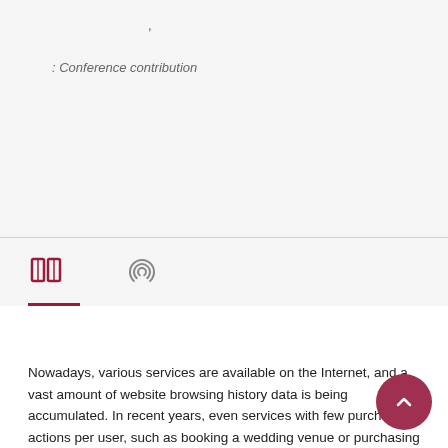,
: Conference contribution
Nowadays, various services are available on the Internet, and a vast amount of website browsing history data is being accumulated. In recent years, even services with few purchase actions per user, such as booking a wedding venue or purchasing